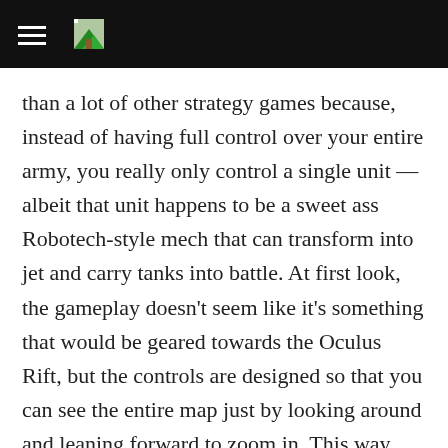than a lot of other strategy games because, instead of having full control over your entire army, you really only control a single unit — albeit that unit happens to be a sweet ass Robotech-style mech that can transform into jet and carry tanks into battle. At first look, the gameplay doesn't seem like it's something that would be geared towards the Oculus Rift, but the controls are designed so that you can see the entire map just by looking around and leaning forward to zoom in. This way there's no need to ever scroll or pan around a camera.
https://forums.oculus.com/viewtopic.php?t=22575
Via Oculus.com